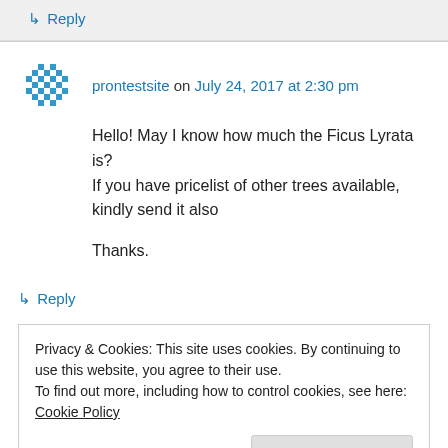↳ Reply
prontestsite on July 24, 2017 at 2:30 pm
Hello! May I know how much the Ficus Lyrata is? If you have pricelist of other trees available, kindly send it also

Thanks.
↳ Reply
Privacy & Cookies: This site uses cookies. By continuing to use this website, you agree to their use.
To find out more, including how to control cookies, see here: Cookie Policy
Close and accept